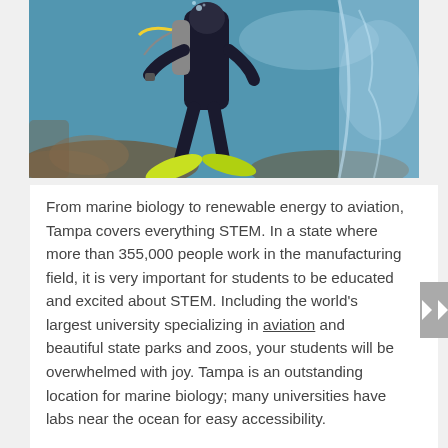[Figure (photo): A scuba diver underwater in an aquarium or ocean setting, wearing black wetsuit and bright yellow-green fins, with diving equipment and oxygen tank, surrounded by blue water and rocks]
From marine biology to renewable energy to aviation, Tampa covers everything STEM. In a state where more than 355,000 people work in the manufacturing field, it is very important for students to be educated and excited about STEM. Including the world's largest university specializing in aviation and beautiful state parks and zoos, your students will be overwhelmed with joy. Tampa is an outstanding location for marine biology; many universities have labs near the ocean for easy accessibility.